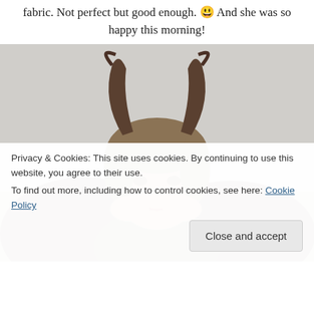fabric. Not perfect but good enough. 😀 And she was so happy this morning!
[Figure (photo): A young girl wearing dark brown Maleficent-style horns headband and a brown winged costume, smiling and holding her hands up near her face, photographed against a light gray background.]
Privacy & Cookies: This site uses cookies. By continuing to use this website, you agree to their use.
To find out more, including how to control cookies, see here: Cookie Policy
Close and accept